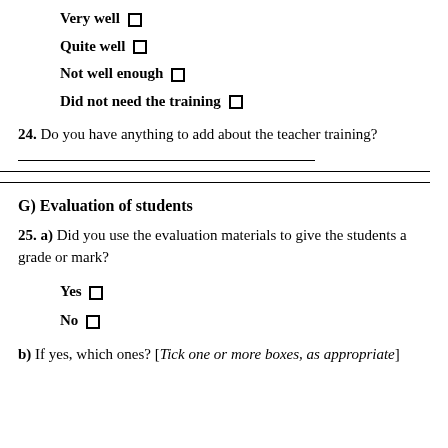Very well ☐
Quite well ☐
Not well enough ☐
Did not need the training ☐
24. Do you have anything to add about the teacher training?
G) Evaluation of students
25. a) Did you use the evaluation materials to give the students a grade or mark?
Yes ☐
No ☐
b) If yes, which ones? [Tick one or more boxes, as appropriate]